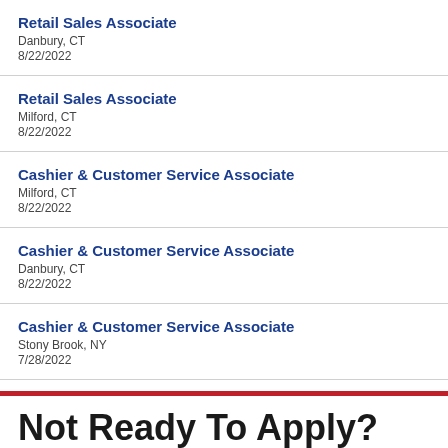Retail Sales Associate
Danbury, CT
8/22/2022
Retail Sales Associate
Milford, CT
8/22/2022
Cashier & Customer Service Associate
Milford, CT
8/22/2022
Cashier & Customer Service Associate
Danbury, CT
8/22/2022
Cashier & Customer Service Associate
Stony Brook, NY
7/28/2022
Not Ready To Apply?